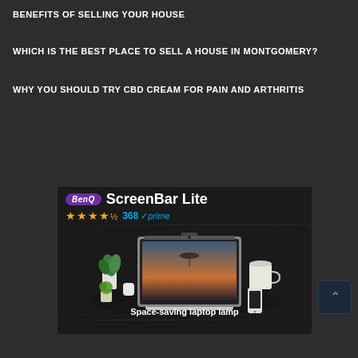BENEFITS OF SELLING YOUR HOUSE
WHICH IS THE BEST PLACE TO SELL A HOUSE IN MONTGOMERY?
WHY YOU SHOULD TRY CBD CREAM FOR PAIN AND ARTHRITIS
[Figure (photo): BenQ ScreenBar Lite advertisement showing a laptop with a screen bar lamp, plants, a mug, and a phone on a dark desk. Rated 4.5 stars, 368 reviews, Amazon Prime. Tagline: Space-saving laptop lamp.]